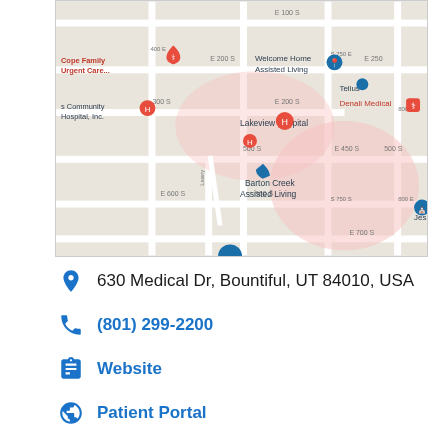[Figure (map): Google Maps screenshot showing Bountiful, Utah area with markers for Lakeview Hospital, Barton Creek Assisted Living, Welcome Home Assisted Living, Cope Family Urgent Care, Denali Medical, The Church of Jesus Christ of Latter, and other local landmarks. Streets include E 100 S, E 200 S, E 300 S (300 S), E 450 S, 500 S, E 600 S, E 700 S, S 750 E, S 800 E, 400 E, S 680 S.]
630 Medical Dr, Bountiful, UT 84010, USA
(801) 299-2200
Website
Patient Portal
Order Your Records